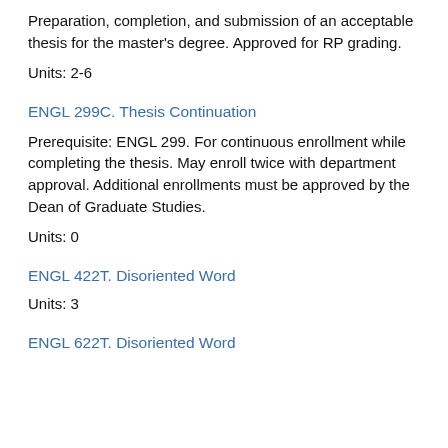Preparation, completion, and submission of an acceptable thesis for the master's degree. Approved for RP grading.
Units: 2-6
ENGL 299C. Thesis Continuation
Prerequisite: ENGL 299. For continuous enrollment while completing the thesis. May enroll twice with department approval. Additional enrollments must be approved by the Dean of Graduate Studies.
Units: 0
ENGL 422T. Disoriented Word
Units: 3
ENGL 622T. Disoriented Word